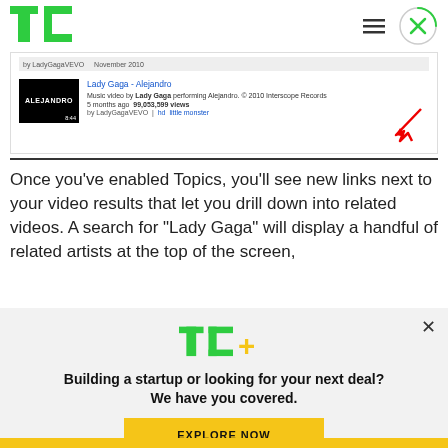TechCrunch logo and navigation
[Figure (screenshot): YouTube search result screenshot showing Lady Gaga - Alejandro music video result with thumbnail, 99,053,599 views, by LadyGagaVEVO, with a red arrow pointing to 'little monster' tag link]
Once you've enabled Topics, you'll see new links next to your video results that let you drill down into related videos. A search for “Lady Gaga” will display a handful of related artists at the top of the screen,
[Figure (logo): TechCrunch TC+ logo in green and yellow]
Building a startup or looking for your next deal? We have you covered.
EXPLORE NOW